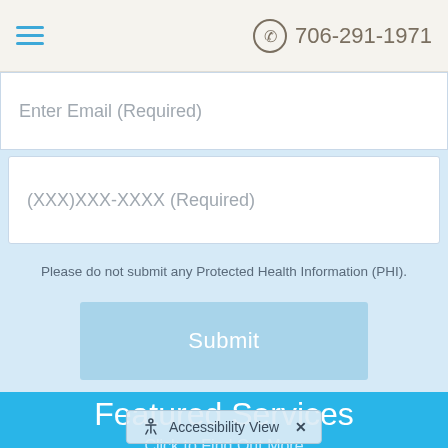706-291-1971
Enter Email (Required)
(XXX)XXX-XXXX (Required)
Please do not submit any Protected Health Information (PHI).
Submit
Featured Services
Click to Find Out More
Accessibility View